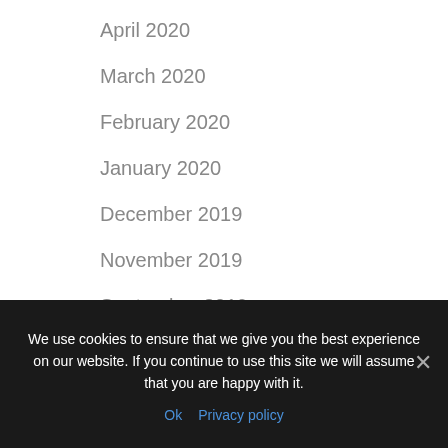April 2020
March 2020
February 2020
January 2020
December 2019
November 2019
September 2019
June 2019
February 2019
We use cookies to ensure that we give you the best experience on our website. If you continue to use this site we will assume that you are happy with it.
Ok  Privacy policy